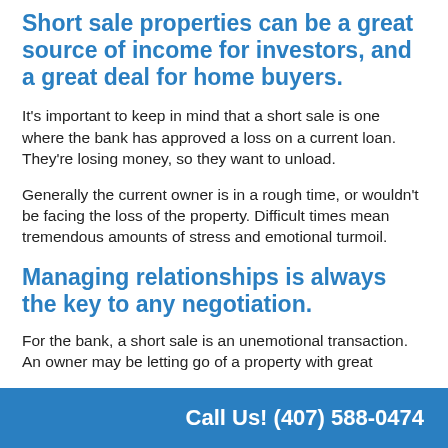Short sale properties can be a great source of income for investors, and a great deal for home buyers.
It's important to keep in mind that a short sale is one where the bank has approved a loss on a current loan. They're losing money, so they want to unload.
Generally the current owner is in a rough time, or wouldn't be facing the loss of the property. Difficult times mean tremendous amounts of stress and emotional turmoil.
Managing relationships is always the key to any negotiation.
For the bank, a short sale is an unemotional transaction. An owner may be letting go of a property with great
Call Us! (407) 588-0474